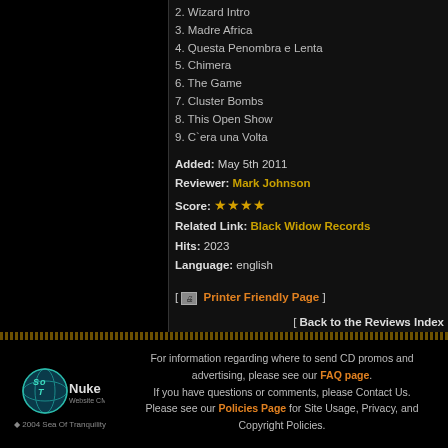2. Wizard Intro
3. Madre Africa
4. Questa Penombra e Lenta
5. Chimera
6. The Game
7. Cluster Bombs
8. This Open Show
9. C`era una Volta
Added: May 5th 2011
Reviewer: Mark Johnson
Score: ★★★★
Related Link: Black Widow Records
Hits: 2023
Language: english
[ Printer Friendly Page ]
[ Send to a Friend ]
[ Back to the Reviews Index
For information regarding where to send CD promos and advertising, please see our FAQ page. If you have questions or comments, please Contact Us. Please see our Policies Page for Site Usage, Privacy, and Copyright Policies.
© 2004 Sea Of Tranquility